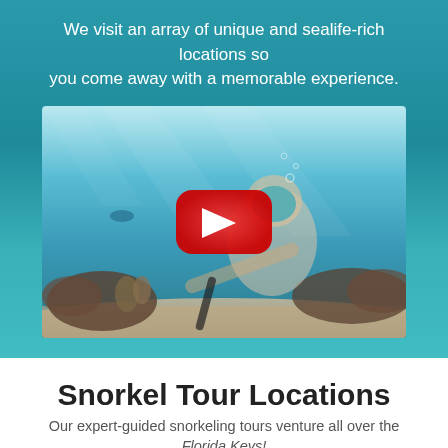We visit an array of unique and sealife-rich locations so you come away with a memorable experience.
[Figure (photo): Underwater snorkeling photo with a YouTube play button overlay. A snorkeler wearing a teal mask and snorkel holds a camera selfie stick near a coral reef. Another diver is visible in the background. The scene shows clear turquoise water with sandy bottom and coral rocks.]
Snorkel Tour Locations
Our expert-guided snorkeling tours venture all over the Florida Keys!